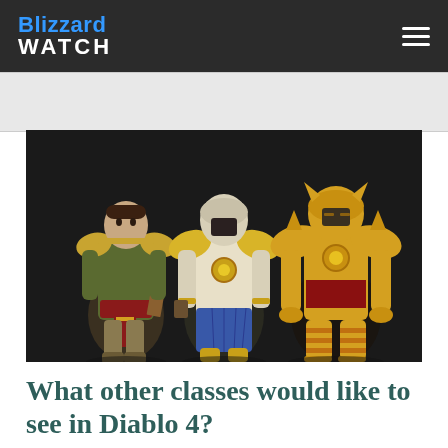Blizzard WATCH
[Figure (photo): Three Diablo video game character models in armored/paladin-style outfits standing against a dark background. Left character wears lighter cloth and leather armor with a red sash. Middle character wears white/gold paladin armor with a blue cloth. Right character wears heavy gold and red plate armor.]
What other classes would like to see in Diablo 4?